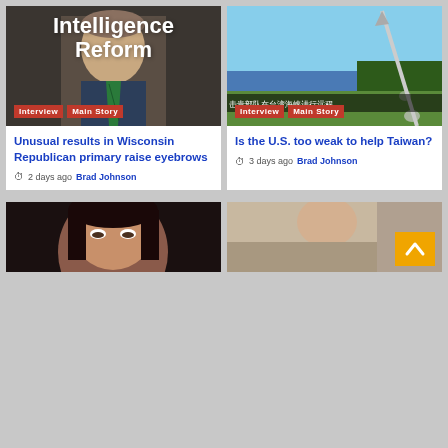Intelligence Reform
[Figure (photo): Man in suit with green tie speaking, indoor hallway, with overlaid title text 'Intelligence Reform']
Interview  Main Story
Unusual results in Wisconsin Republican primary raise eyebrows
2 days ago  Brad Johnson
[Figure (photo): Missile launch with Chinese text banner at bottom, outdoor scene]
Interview  Main Story
Is the U.S. too weak to help Taiwan?
3 days ago  Brad Johnson
[Figure (photo): Dark-haired woman close-up portrait]
[Figure (photo): Outdoor scene, partial view with orange scroll-to-top button]